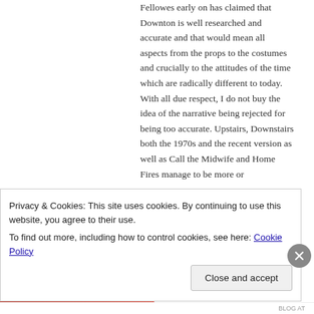Fellowes early on has claimed that Downton is well researched and accurate and that would mean all aspects from the props to the costumes and crucially to the attitudes of the time which are radically different to today. With all due respect, I do not buy the idea of the narrative being rejected for being too accurate. Upstairs, Downstairs both the 1970s and the recent version as well as Call the Midwife and Home Fires manage to be more or
Privacy & Cookies: This site uses cookies. By continuing to use this website, you agree to their use.
To find out more, including how to control cookies, see here: Cookie Policy
Close and accept